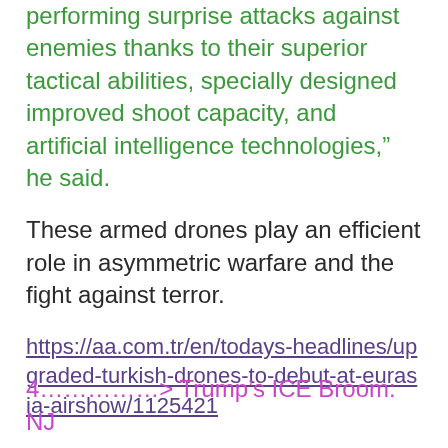performing surprise attacks against enemies thanks to their superior tactical abilities, specially designed improved shoot capacity, and artificial intelligence technologies,” he said.
These armed drones play an efficient role in asymmetric warfare and the fight against terror.
https://aa.com.tr/en/todays-headlines/upgraded-turkish-drones-to-debut-at-eurasia-airshow/1125421
4……………> Trump’s ICE Broom: NJ